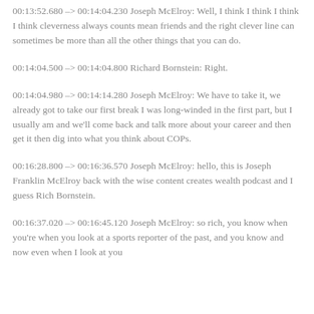00:13:52.680 –> 00:14:04.230 Joseph McElroy: Well, I think I think I think I think cleverness always counts mean friends and the right clever line can sometimes be more than all the other things that you can do.
00:14:04.500 –> 00:14:04.800 Richard Bornstein: Right.
00:14:04.980 –> 00:14:14.280 Joseph McElroy: We have to take it, we already got to take our first break I was long-winded in the first part, but I usually am and we'll come back and talk more about your career and then get it then dig into what you think about COPs.
00:16:28.800 –> 00:16:36.570 Joseph McElroy: hello, this is Joseph Franklin McElroy back with the wise content creates wealth podcast and I guess Rich Bornstein.
00:16:37.020 –> 00:16:45.120 Joseph McElroy: so rich, you know when you're when you look at a sports reporter of the past, and you know and now even when I look at you